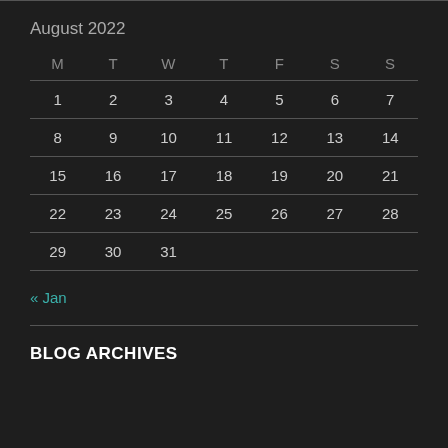August 2022
| M | T | W | T | F | S | S |
| --- | --- | --- | --- | --- | --- | --- |
| 1 | 2 | 3 | 4 | 5 | 6 | 7 |
| 8 | 9 | 10 | 11 | 12 | 13 | 14 |
| 15 | 16 | 17 | 18 | 19 | 20 | 21 |
| 22 | 23 | 24 | 25 | 26 | 27 | 28 |
| 29 | 30 | 31 |  |  |  |  |
« Jan
BLOG ARCHIVES